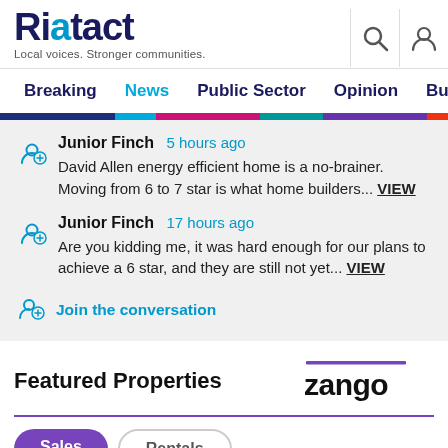Riatact — Local voices. Stronger communities.
Breaking  News  Public Sector  Opinion  Business  R
Junior Finch  5 hours ago
David Allen energy efficient home is a no-brainer. Moving from 6 to 7 star is what home builders... VIEW
Junior Finch  17 hours ago
Are you kidding me, it was hard enough for our plans to achieve a 6 star, and they are still not yet... VIEW
Join the conversation
Featured Properties
[Figure (logo): Zango logo with purple overline]
Sales  Rentals